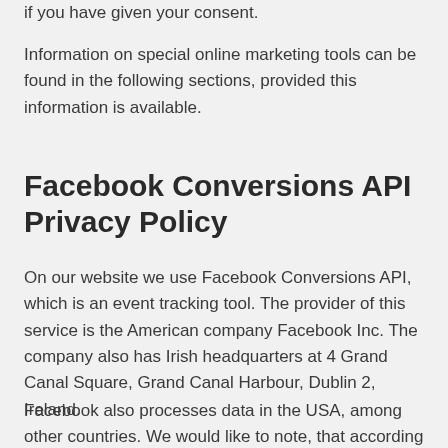if you have given your consent.
Information on special online marketing tools can be found in the following sections, provided this information is available.
Facebook Conversions API Privacy Policy
On our website we use Facebook Conversions API, which is an event tracking tool. The provider of this service is the American company Facebook Inc. The company also has Irish headquarters at 4 Grand Canal Square, Grand Canal Harbour, Dublin 2, Ireland.
Facebook also processes data in the USA, among other countries. We would like to note, that according to the